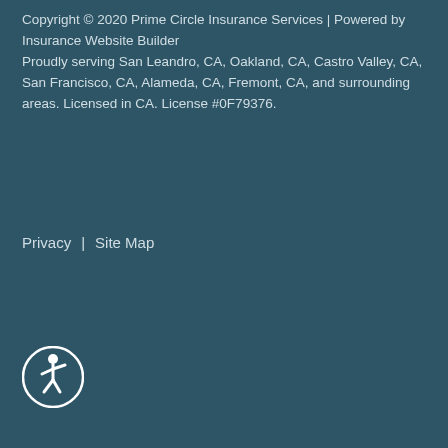Copyright © 2020 Prime Circle Insurance Services | Powered by Insurance Website Builder
Proudly serving San Leandro, CA, Oakland, CA, Castro Valley, CA, San Francisco, CA, Alameda, CA, Fremont, CA, and surrounding areas. Licensed in CA. License #0F79376.
Privacy | Site Map
[Figure (illustration): Accessibility icon — circular badge with a white outline circle containing a white human figure icon (wheelchair accessibility symbol)]